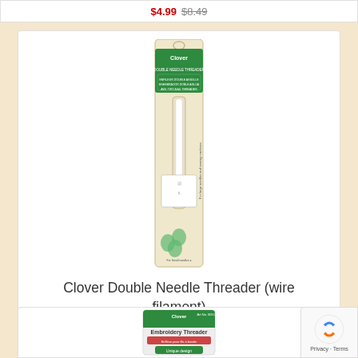$4.99 $8.49
[Figure (photo): Clover Double Needle Threader (wire filament) product in packaging — tall narrow beige card with green Clover logo at top and clover leaf graphics]
Clover Double Needle Threader (wire filament)
$7.99 $8.99
[Figure (photo): Clover Embroidery Threader product packaging — small card with green Clover logo and 'Embroidery Threader' text, 'Unique design' label visible]